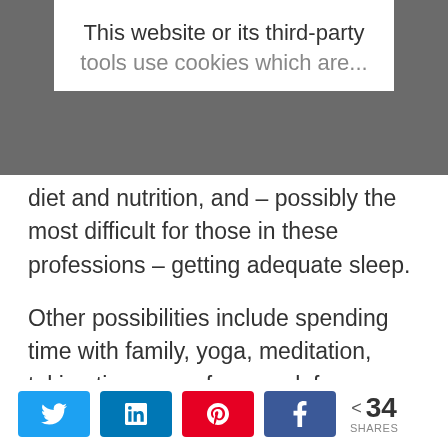This website or its third-party tools use cookies which are...
diet and nutrition, and – possibly the most difficult for those in these professions – getting adequate sleep.
Other possibilities include spending time with family, yoga, meditation, taking time away from work for personal vacation, and engaging in hobbies unrelated to your
< 34 SHARES [Twitter] [LinkedIn] [Pinterest] [Facebook]